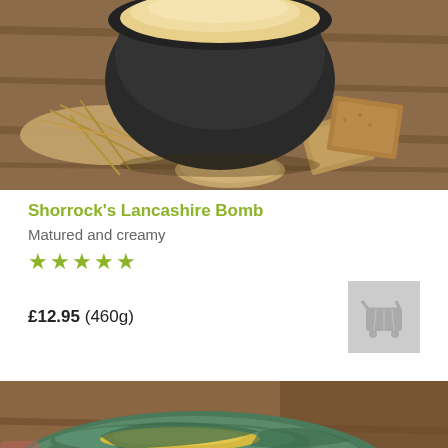[Figure (photo): Cheese in a dark bowl with crackers and straw on a wooden surface]
Shorrock's Lancashire Bomb
Matured and creamy
★★★★★
£12.95 (460g)
[Figure (photo): Green-wax wrapped cheese block on wooden surface, partially unwrapped]